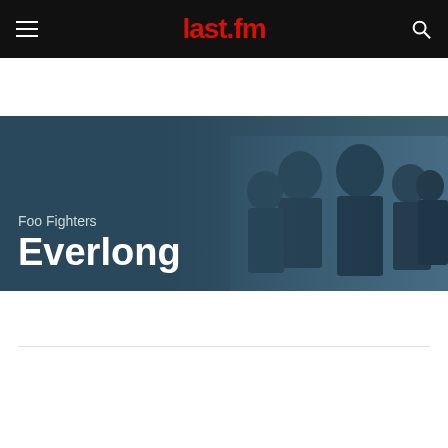last.fm
[Figure (photo): Hero banner showing Foo Fighters band members against a dark teal background]
Foo Fighters
Everlong
Listeners 1.7M
Scrobbles 15.4M
[Figure (photo): Three overlapping circular user avatar photos]
Join others and track this song
Scrobble, find and rediscover music with a Last.fm account
SIGN UP TO LAST.FM